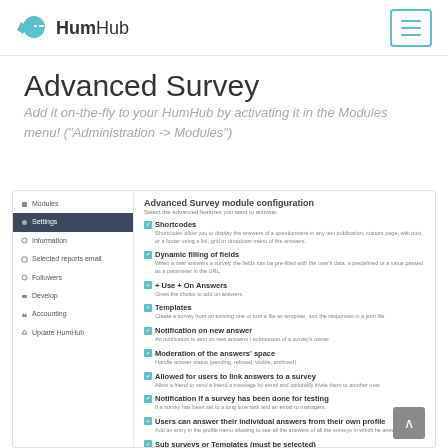HumHub - Advanced Survey
Advanced Survey
Add it on-the-fly to your HumHub by activating it in the Modules menu! ("Administration -> Modules")
[Figure (screenshot): Screenshot of HumHub Advanced Survey module configuration page showing sidebar navigation with Modules, Settings (active), Information, Selected reports email, Followers, Develop, Accounting, Update HumHub items, and main content area listing Advanced Survey module configuration features including Shortcodes, Dynamic filling of fields, + Use + On Answers, Templates, Notification on new answer, Moderation of the answers' space, Allowed for users to link answers to a survey, Notification if a survey has been done for testing, Users can answer their individual answers from their own profile, Sub surveys or Templates must be selected, with checkboxes all checked.]